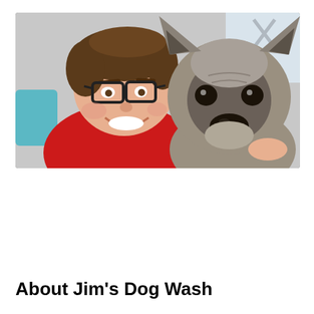[Figure (photo): A smiling woman with glasses wearing a red top, posing cheek-to-cheek with a large grey puppy (Norwegian Elkhound or similar breed) in an indoor setting.]
About Jim's Dog Wash